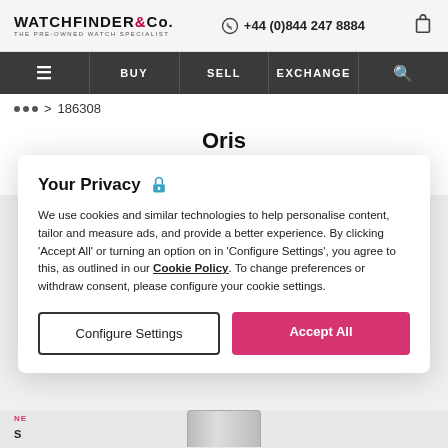WATCHFINDER & Co. THE PRE-OWNED WATCH SPECIALIST | +44 (0)844 247 8884
BUY | SELL | EXCHANGE
... > 186308
Oris
Divers
733 7747 43 54 MB
Your Privacy
We use cookies and similar technologies to help personalise content, tailor and measure ads, and provide a better experience. By clicking 'Accept All' or turning an option on in 'Configure Settings', you agree to this, as outlined in our Cookie Policy. To change preferences or withdraw consent, please configure your cookie settings.
Configure Settings
Accept All